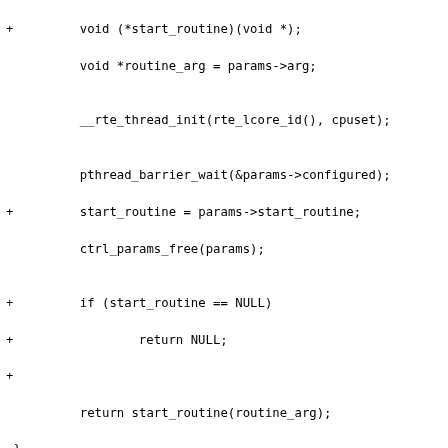Code diff showing changes to rte_ctrl_thread_create function including thread barrier wait, start routine assignment, null check, and pthread barrier init with goto fail_no_barrier refactor